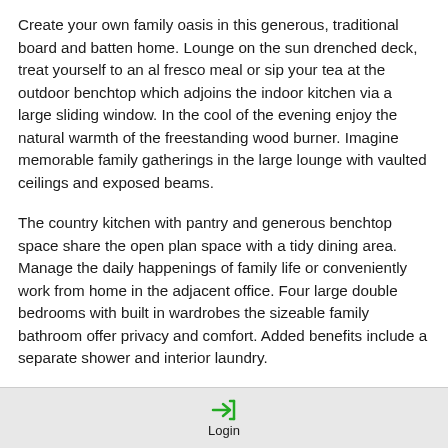Create your own family oasis in this generous, traditional board and batten home. Lounge on the sun drenched deck, treat yourself to an al fresco meal or sip your tea at the outdoor benchtop which adjoins the indoor kitchen via a large sliding window. In the cool of the evening enjoy the natural warmth of the freestanding wood burner. Imagine memorable family gatherings in the large lounge with vaulted ceilings and exposed beams.
The country kitchen with pantry and generous benchtop space share the open plan space with a tidy dining area. Manage the daily happenings of family life or conveniently work from home in the adjacent office. Four large double bedrooms with built in wardrobes the sizeable family bathroom offer privacy and comfort. Added benefits include a separate shower and interior laundry.
Login